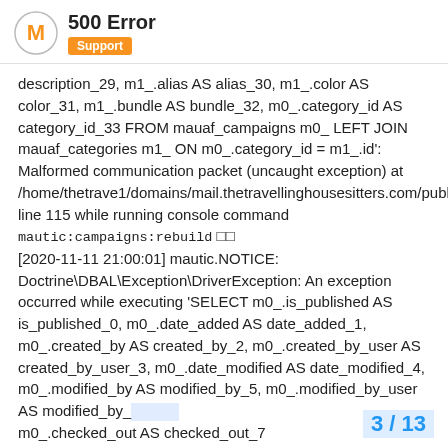500 Error
Support
description_29, m1_.alias AS alias_30, m1_.color AS color_31, m1_.bundle AS bundle_32, m0_.category_id AS category_id_33 FROM mauaf_campaigns m0_ LEFT JOIN mauaf_categories m1_ ON m0_.category_id = m1_.id': Malformed communication packet (uncaught exception) at /home/thetrave1/domains/mail.thetravellinghousesitters.com/public_html/vendor/doctrine/dbal/lib/Doctrine/DBAL/Driver/AbstractMySQLDriver.php line 115 while running console command mautic:campaigns:rebuild □□ [2020-11-11 21:00:01] mautic.NOTICE: Doctrine\DBAL\Exception\DriverException: An exception occurred while executing 'SELECT m0_.is_published AS is_published_0, m0_.date_added AS date_added_1, m0_.created_by AS created_by_2, m0_.created_by_user AS created_by_user_3, m0_.date_modified AS date_modified_4, m0_.modified_by AS modified_by_5, m0_.modified_by_user AS modified_by_ m0_.checked_out AS checked_out_7
3 / 13